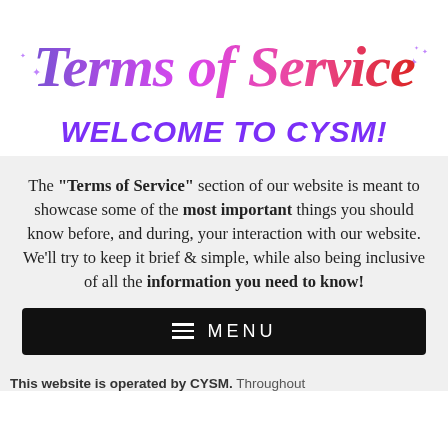Terms of Service
WELCOME TO CYSM!
The "Terms of Service" section of our website is meant to showcase some of the most important things you should know before, and during, your interaction with our website. We'll try to keep it brief & simple, while also being inclusive of all the information you need to know!
[Figure (other): Black navigation menu bar with hamburger icon and MENU text in white]
This website is operated by CYSM. Throughout